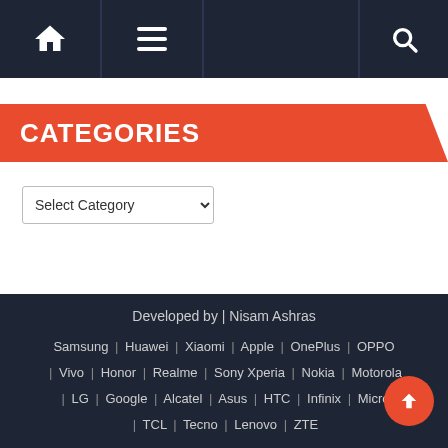Navigation bar with home icon, menu icon, and search icon
CATEGORIES
Select Category (dropdown)
Developed by | Nisam Ashras | Samsung | Huawei | Xiaomi | Apple | OnePlus | OPPO | Vivo | Honor | Realme | Sony Xperia | Nokia | Motorola | LG | Google | Alcatel | Asus | HTC | Infinix | Micro | TCL | Tecno | Lenovo | ZTE